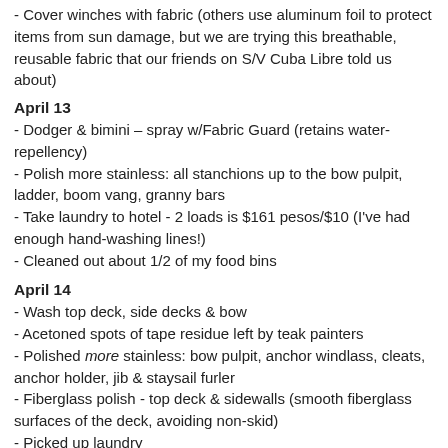- Cover winches with fabric (others use aluminum foil to protect items from sun damage, but we are trying this breathable, reusable fabric that our friends on S/V Cuba Libre told us about)
April 13
- Dodger & bimini – spray w/Fabric Guard (retains water-repellency)
- Polish more stainless: all stanchions up to the bow pulpit, ladder, boom vang, granny bars
- Take laundry to hotel - 2 loads is $161 pesos/$10 (I've had enough hand-washing lines!)
- Cleaned out about 1/2 of my food bins
April 14
- Wash top deck, side decks & bow
- Acetoned spots of tape residue left by teak painters
- Polished more stainless: bow pulpit, anchor windlass, cleats, anchor holder, jib & staysail furler
- Fiberglass polish - top deck & sidewalls (smooth fiberglass surfaces of the deck, avoiding non-skid)
- Picked up laundry